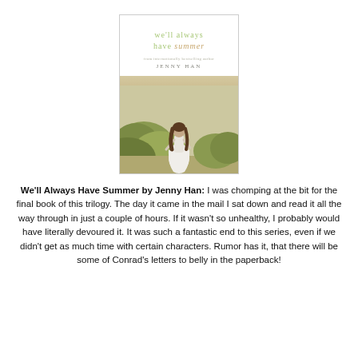[Figure (illustration): Book cover of 'We'll Always Have Summer' by Jenny Han. Light green cursive title text at top on white background, small author name below, with a photo of a girl in a white dress walking through tall grass.]
We'll Always Have Summer by Jenny Han: I was chomping at the bit for the final book of this trilogy. The day it came in the mail I sat down and read it all the way through in just a couple of hours. If it wasn't so unhealthy, I probably would have literally devoured it. It was such a fantastic end to this series, even if we didn't get as much time with certain characters. Rumor has it, that there will be some of Conrad's letters to belly in the paperback!